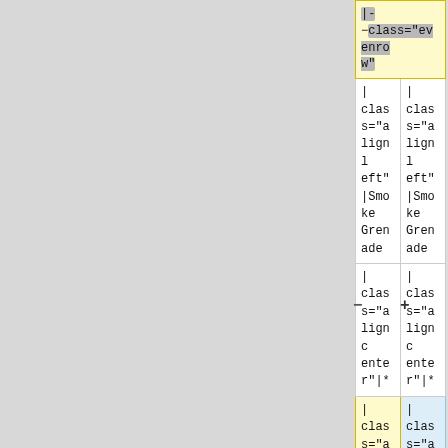| Left column (old) | Right column (new) |
| --- | --- |
| |- class="evenrow" |  |
| | class="alignleft"|Smoke Grenade | | class="alignleft"|Smoke Grenade |
| | class="aligncenter"|* | | class="aligncenter"|* |
| | class="alignleft"|Darkness (PL 2), exploding, single use (lasts 10 rounds) | | class="alignleft"|Darkness (PL 4), 10 m radius, single use (lasts 10 rounds) |
| |} | |} |